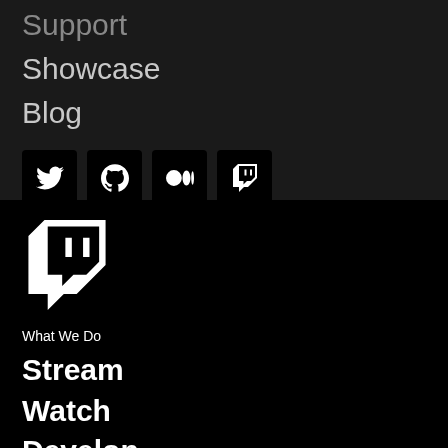Support
Showcase
Blog
[Figure (illustration): Row of four social media icons: Twitter, GitHub, Medium, Twitch — each on a black square button]
[Figure (logo): Twitch logo — white glitch-style chat bubble icon]
What We Do
Stream
Watch
Develop